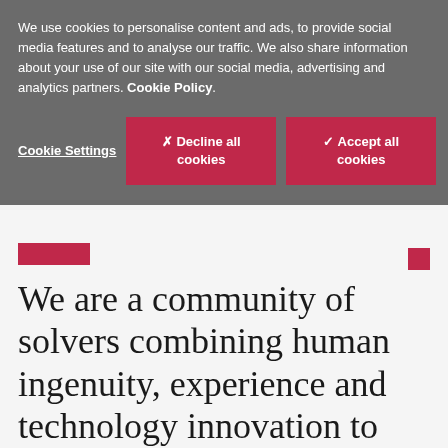We use cookies to personalise content and ads, to provide social media features and to analyse our traffic. We also share information about your use of our site with our social media, advertising and analytics partners. Cookie Policy.
Cookie Settings | ✗ Decline all cookies | ✓ Accept all cookies
We are a community of solvers combining human ingenuity, experience and technology innovation to deliver sustained outcomes and build trust.